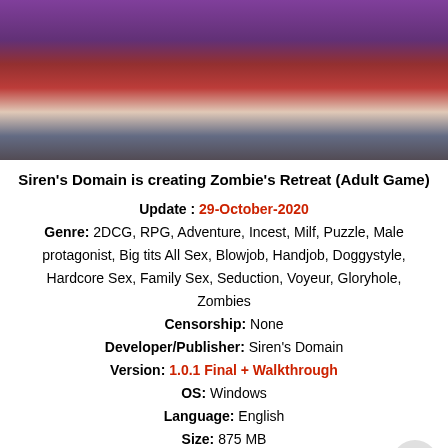[Figure (illustration): Animated/illustrated characters in costume, colorful adult-style artwork banner image]
Siren's Domain is creating Zombie's Retreat (Adult Game)
Update : 29-October-2020
Genre: 2DCG, RPG, Adventure, Incest, Milf, Puzzle, Male protagonist, Big tits All Sex, Blowjob, Handjob, Doggystyle, Hardcore Sex, Family Sex, Seduction, Voyeur, Gloryhole, Zombies
Censorship: None
Developer/Publisher: Siren's Domain
Version: 1.0.1 Final + Walkthrough
OS: Windows
Language: English
Size: 875 MB